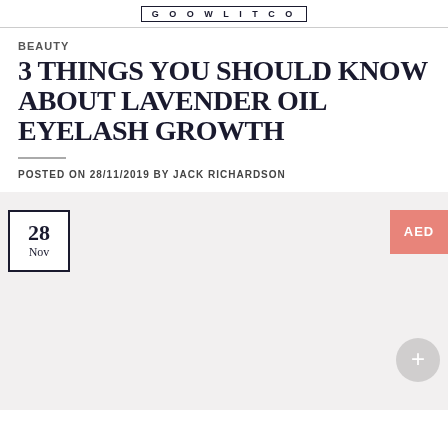GOOWLITCO
BEAUTY
3 THINGS YOU SHOULD KNOW ABOUT LAVENDER OIL EYELASH GROWTH
POSTED ON 28/11/2019 BY JACK RICHARDSON
[Figure (photo): Image placeholder area with a date badge showing '28 Nov' in a bordered box on the left, a coral/salmon 'AED' button on the top right, and a light grey circular plus button in the lower right. Background is light grey/pink.]